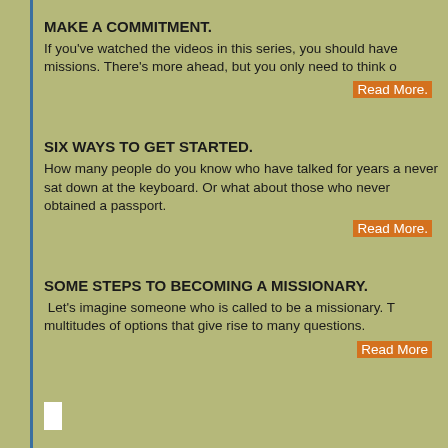MAKE A COMMITMENT.
If you've watched the videos in this series, you should have missions. There's more ahead, but you only need to think o
Read More.
SIX WAYS TO GET STARTED.
How many people do you know who have talked for years a never sat down at the keyboard. Or what about those who never obtained a passport.
Read More.
SOME STEPS TO BECOMING A MISSIONARY.
Let's imagine someone who is called to be a missionary. T multitudes of options that give rise to many questions.
Read More